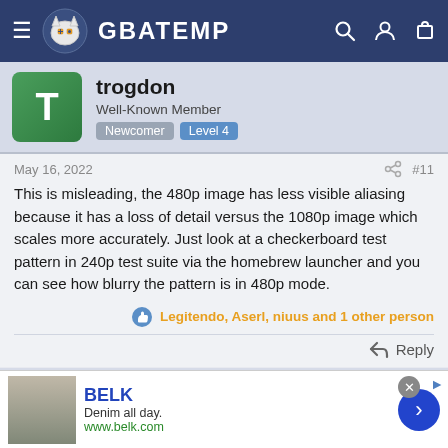GBATEMP
trogdon
Well-Known Member
Newcomer Level 4
May 16, 2022
#11
This is misleading, the 480p image has less visible aliasing because it has a loss of detail versus the 1080p image which scales more accurately. Just look at a checkerboard test pattern in 240p test suite via the homebrew launcher and you can see how blurry the pattern is in 480p mode.
Legitendo, Aserl, niuus and 1 other person
Reply
Mario_hat_with_eyes
BELK
Denim all day.
www.belk.com